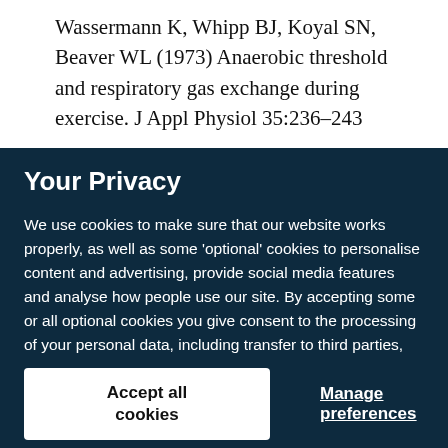Wassermann K, Whipp BJ, Koyal SN, Beaver WL (1973) Anaerobic threshold and respiratory gas exchange during exercise. J Appl Physiol 35:236–243
Your Privacy
We use cookies to make sure that our website works properly, as well as some 'optional' cookies to personalise content and advertising, provide social media features and analyse how people use our site. By accepting some or all optional cookies you give consent to the processing of your personal data, including transfer to third parties, some in countries outside of the European Economic Area that do not offer the same data protection standards as the country where you live. You can decide which optional cookies to accept by clicking on 'Manage Settings', where you can also find more information about how your personal data is processed. Further information can be found in our privacy policy.
Accept all cookies
Manage preferences